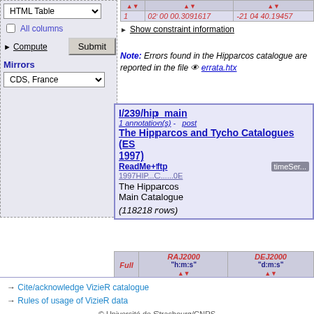HTML Table (select)
All columns (checkbox)
Compute
Submit
Mirrors
CDS, France (select)
| Full | RAJ2000 "h:m:s" | DEJ2000 "d:m:s" |
| --- | --- | --- |
| 1 | 02 00 00.3091617 | -21 04 40.19457 |
Show constraint information
Note: Errors found in the Hipparcos catalogue are reported in the file errata.htx
I/239/hip_main — 1 annotation(s) - post — The Hipparcos and Tycho Catalogues (ESA 1997) — ReadMe+ftp — 1997HIP...C......0E — The Hipparcos Main Catalogue — timeSer... — (118218 rows)
| Full | RAJ2000 "h:m:s" | DEJ2000 "d:m:s" |
| --- | --- | --- |
| 1 | 02 00 00.3079607 | -21 04 40.193358 |
→ Cite/acknowledge VizieR catalogue
→ Rules of usage of VizieR data
© Université de Strasbourg/CNRS